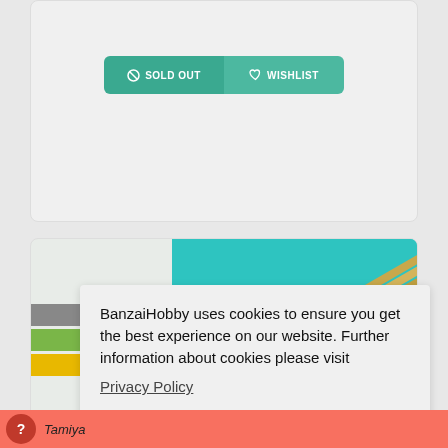[Figure (screenshot): Sold Out and Wishlist button row with teal background]
[Figure (photo): Product image on teal background showing hobby sticks/sprue]
BanzaiHobby uses cookies to ensure you get the best experience on our website. Further information about cookies please visit
Privacy Policy
Got it!